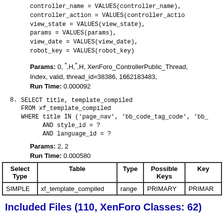controller_name = VALUES(controller_name),
    controller_action = VALUES(controller_action),
    view_state = VALUES(view_state),
    params = VALUES(params),
    view_date = VALUES(view_date),
    robot_key = VALUES(robot_key)
Params: 0, *,H,*,H, XenForo_ControllerPublic_Thread, Index, valid, thread_id=38386, 1662183483,
Run Time: 0.000092
8. SELECT title, template_compiled
   FROM xf_template_compiled
   WHERE title IN ('page_nav', 'bb_code_tag_code', 'bb_...
         AND style_id = ?
         AND language_id = ?
Params: 2, 2
Run Time: 0.000580
| Select Type | Table | Type | Possible Keys | Key |
| --- | --- | --- | --- | --- |
| SIMPLE | xf_template_compiled | range | PRIMARY | PRIMARY |
Included Files (110, XenForo Classes: 62)